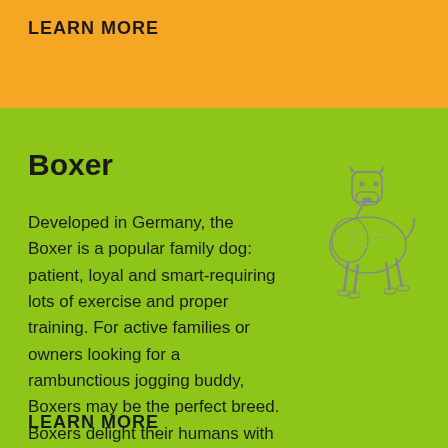LEARN MORE
Boxer
[Figure (illustration): Pencil sketch illustration of a Boxer dog standing in profile, showing the characteristic muscular build, cropped ears, and squared muzzle of the breed.]
Developed in Germany, the Boxer is a popular family dog: patient, loyal and smart-requiring lots of exercise and proper training. For active families or owners looking for a rambunctious jogging buddy, Boxers may be the perfect breed. Boxers delight their humans with their sense of humor and affectionate nature.
LEARN MORE